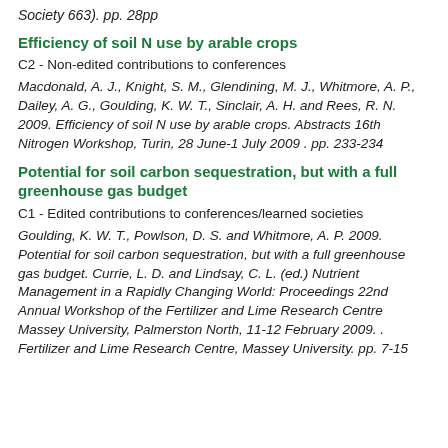Society 663). pp. 28pp
Efficiency of soil N use by arable crops
C2 - Non-edited contributions to conferences
Macdonald, A. J., Knight, S. M., Glendining, M. J., Whitmore, A. P., Dailey, A. G., Goulding, K. W. T., Sinclair, A. H. and Rees, R. N. 2009. Efficiency of soil N use by arable crops. Abstracts 16th Nitrogen Workshop, Turin, 28 June-1 July 2009 . pp. 233-234
Potential for soil carbon sequestration, but with a full greenhouse gas budget
C1 - Edited contributions to conferences/learned societies
Goulding, K. W. T., Powlson, D. S. and Whitmore, A. P. 2009. Potential for soil carbon sequestration, but with a full greenhouse gas budget. Currie, L. D. and Lindsay, C. L. (ed.) Nutrient Management in a Rapidly Changing World: Proceedings 22nd Annual Workshop of the Fertilizer and Lime Research Centre Massey University, Palmerston North, 11-12 February 2009. . Fertilizer and Lime Research Centre, Massey University. pp. 7-15